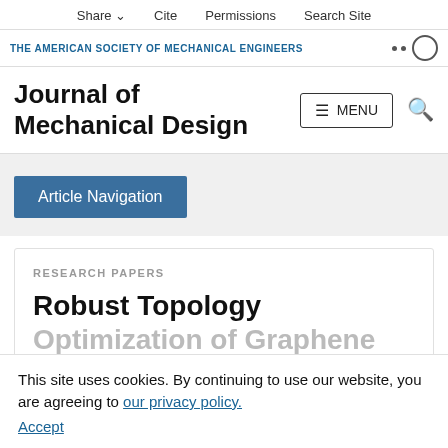Share  Cite  Permissions  Search Site
THE AMERICAN SOCIETY OF MECHANICAL ENGINEERS
Journal of Mechanical Design
Article Navigation
RESEARCH PAPERS
Robust Topology Optimization of Graphene Platelets Reinforced Functionally Graded
This site uses cookies. By continuing to use our website, you are agreeing to our privacy policy. Accept